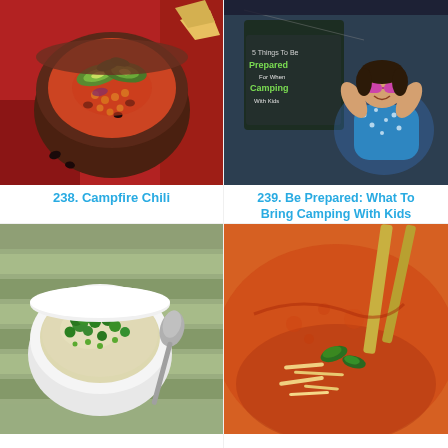[Figure (photo): Bowl of campfire chili topped with avocado slices, corn, and black beans, placed on a red surface with chips in background]
238. Campfire Chili
[Figure (photo): Camping preparation image with text overlay reading '5 Things To Be Prepared For When Camping With Kids' and a girl with sunglasses lying down]
239. Be Prepared: What To Bring Camping With Kids
[Figure (photo): White bowl of creamy broccoli soup with a spoon on a striped green mat]
[Figure (photo): Bowl of tomato soup with cheese and basil, with chopsticks or spoons visible]